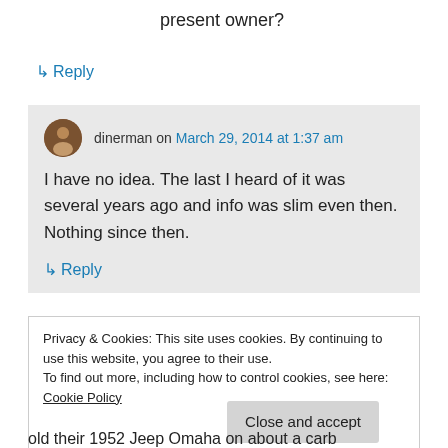present owner?
↳ Reply
dinerman on March 29, 2014 at 1:37 am
I have no idea. The last I heard of it was several years ago and info was slim even then. Nothing since then.
↳ Reply
Privacy & Cookies: This site uses cookies. By continuing to use this website, you agree to their use.
To find out more, including how to control cookies, see here: Cookie Policy
Close and accept
old their 1952 Jeep Omaha on about a carb